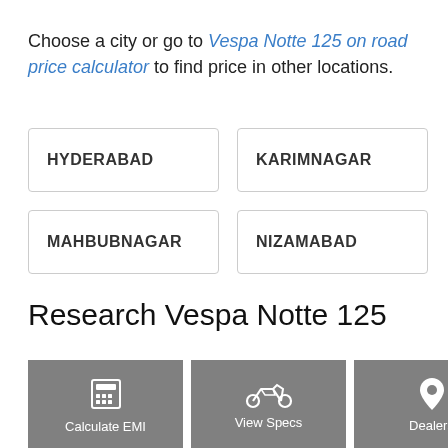Choose a city or go to Vespa Notte 125 on road price calculator to find price in other locations.
HYDERABAD
KARIMNAGAR
MAHBUBNAGAR
NIZAMABAD
Research Vespa Notte 125
Calculate EMI
View Specs
Dealers